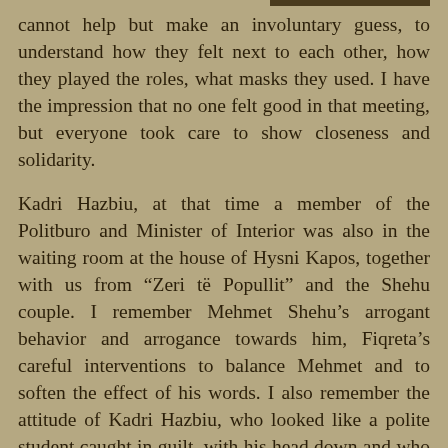cannot help but make an involuntary guess, to understand how they felt next to each other, how they played the roles, what masks they used. I have the impression that no one felt good in that meeting, but everyone took care to show closeness and solidarity.
Kadri Hazbiu, at that time a member of the Politburo and Minister of Interior was also in the waiting room at the house of Hysni Kapos, together with us from “Zeri të Popullit” and the Shehu couple. I remember Mehmet Shehu’s arrogant behavior and arrogance towards him, Fiqreta’s careful interventions to balance Mehmet and to soften the effect of his words. I also remember the attitude of Kadri Hazbiu, who looked like a polite student caught in guilt, with his head down and who did not even try to explain himself, because he was afraid he would suffer worse. Simply, the relationship